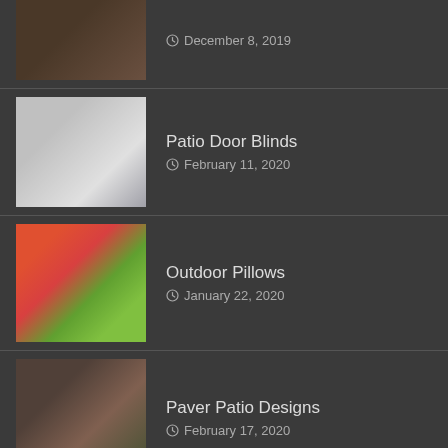December 8, 2019
Patio Door Blinds
February 11, 2020
Outdoor Pillows
January 22, 2020
Paver Patio Designs
February 17, 2020
Pergola Ideas
January 7, 2020
Garden Containers
February 1, 2020